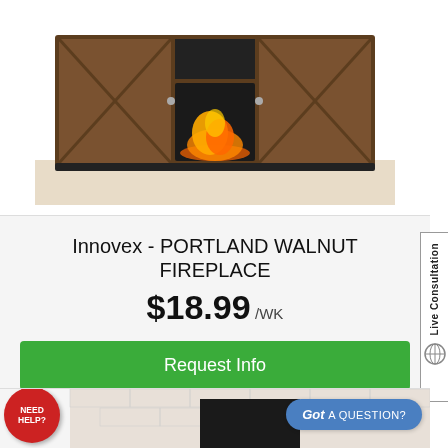[Figure (photo): Innovex Portland Walnut Fireplace TV stand with barn-door style cabinet doors and glowing electric fireplace insert, shown on a beige floor.]
Innovex - PORTLAND WALNUT FIREPLACE
$18.99 /WK
Request Info
Special Offers
[Figure (photo): Bottom portion of product listing page showing a TV stand with brick wall background, a 'NEED HELP?' red badge, and a 'Got A QUESTION?' blue button.]